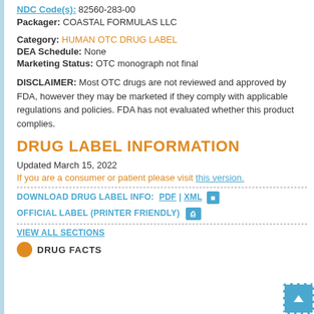NDC Code(s): 82560-283-00
Packager: COASTAL FORMULAS LLC
Category: HUMAN OTC DRUG LABEL
DEA Schedule: None
Marketing Status: OTC monograph not final
DISCLAIMER: Most OTC drugs are not reviewed and approved by FDA, however they may be marketed if they comply with applicable regulations and policies. FDA has not evaluated whether this product complies.
DRUG LABEL INFORMATION
Updated March 15, 2022
If you are a consumer or patient please visit this version.
DOWNLOAD DRUG LABEL INFO:  PDF  |  XML
OFFICIAL LABEL (PRINTER FRIENDLY)
VIEW ALL SECTIONS
DRUG FACTS